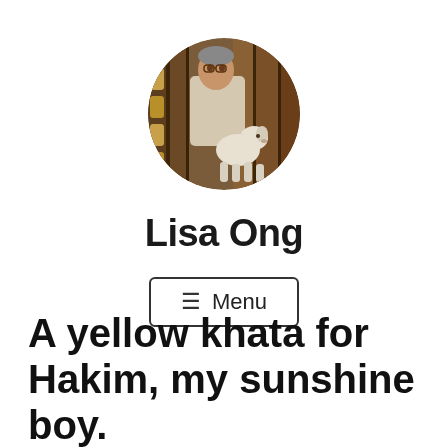[Figure (photo): Circular profile photo of a person with a dog near wooden structures]
Lisa Ong
≡ Menu
A yellow khata for Hakim, my sunshine boy. (2007-10 March, 2021)